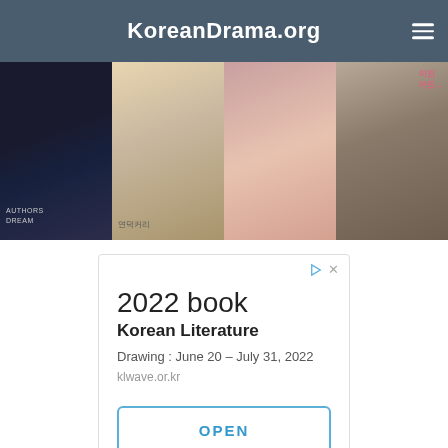KoreanDrama.org
[Figure (photo): Strip of Korean drama poster images showing four panels side by side]
[Figure (screenshot): Advertisement box for '2022 book Korean Literature' with drawing period June 20 – July 31, 2022 and klwave.or.kr URL, containing an OPEN button]
Follow us on